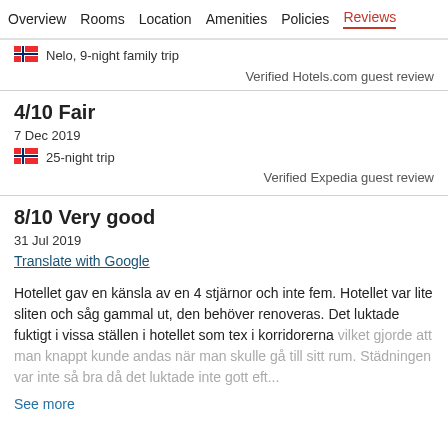Overview  Rooms  Location  Amenities  Policies  Reviews
Nelo, 9-night family trip
Verified Hotels.com guest review
4/10 Fair
7 Dec 2019
25-night trip
Verified Expedia guest review
8/10 Very good
31 Jul 2019
Translate with Google
Hotellet gav en känsla av en 4 stjärnor och inte fem. Hotellet var lite sliten och såg gammal ut, den behöver renoveras. Det luktade fuktigt i vissa ställen i hotellet som tex i korridorerna vilket gjorde att man knappt kunde andas när man skulle gå till sitt rum. Städningen var inte så bra då det luktade inte gott eft...
See more